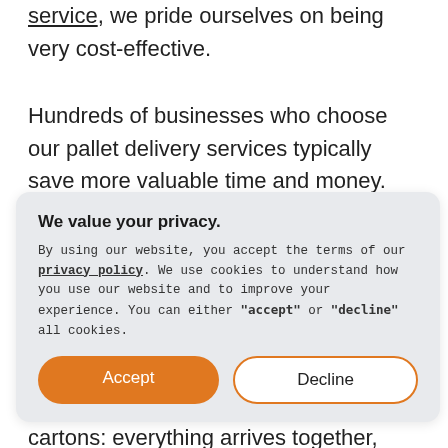service, we pride ourselves on being very cost-effective.
Hundreds of businesses who choose our pallet delivery services typically save more valuable time and money. PalletOnline offers some of the most competitive rates for Amazon FBA deliveries in the country and our customer service is second to none!
We value your privacy. By using our website, you accept the terms of our privacy policy. We use cookies to understand how you use our website and to improve your experience. You can either "accept" or "decline" all cookies.
r to
cartons: everything arrives together, and on time